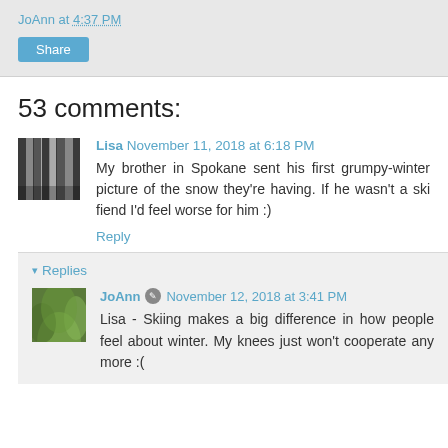JoAnn at 4:37 PM
Share
53 comments:
Lisa November 11, 2018 at 6:18 PM
My brother in Spokane sent his first grumpy-winter picture of the snow they're having. If he wasn't a ski fiend I'd feel worse for him :)
Reply
Replies
JoAnn November 12, 2018 at 3:41 PM
Lisa - Skiing makes a big difference in how people feel about winter. My knees just won't cooperate any more :(